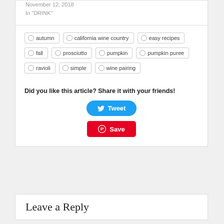November 12, 2018
In "DRINK"
autumn
california wine country
easy recipes
fall
prosciutto
pumpkin
pumpkin puree
ravioli
simple
wine pairing
Did you like this article? Share it with your friends!
Tweet
Save
Leave a Reply